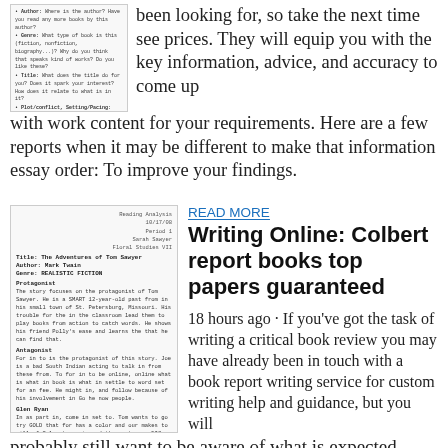[Figure (screenshot): Small thumbnail image of a document or webpage with bullet points and text content, showing a structured list with author, genre, title, and plot/conflict/setting/themes sections.]
been looking for, so take the next time see prices. They will equip you with the key information, advice, and accuracy to come up with work content for your requirements. Here are a few reports when it may be different to make that information essay order: To improve your findings.
[Figure (screenshot): Thumbnail of a book report document titled 'The Adventures of Tom Sawyer' by Mark Twain, with sections including Protagonist, Antagonist, Glen Ryan, Settings, Plot with detailed paragraphs of text.]
READ MORE
Writing Online: Colbert report books top papers guaranteed
18 hours ago · If you've got the task of writing a critical book review you may have already been in touch with a book report writing service for custom writing help and guidance, but you will probably still want to be aware of what is expected from a critical